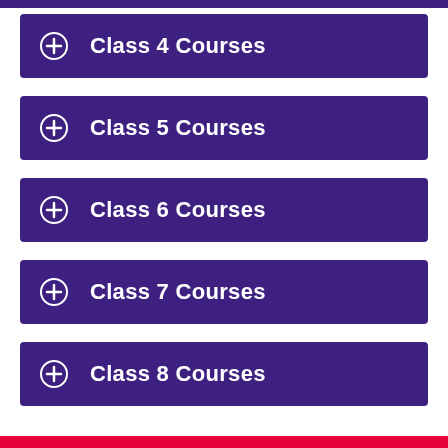Class 4 Courses
Class 5 Courses
Class 6 Courses
Class 7 Courses
Class 8 Courses